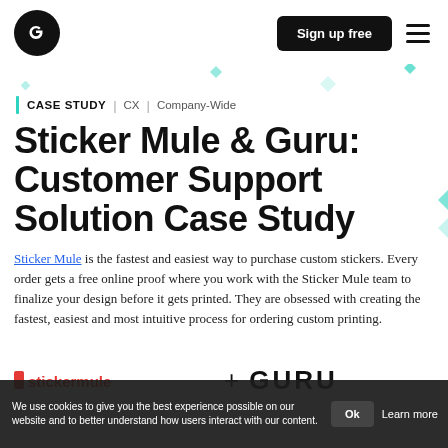Grammarly logo | Sign up free | hamburger menu
CASE STUDY | CX | Company-Wide
Sticker Mule & Guru: Customer Support Solution Case Study
Sticker Mule is the fastest and easiest way to purchase custom stickers. Every order gets a free online proof where you work with the Sticker Mule team to finalize your design before it gets printed. They are obsessed with creating the fastest, easiest and most intuitive process for ordering custom printing.
[Figure (logo): Sticker Mule + GURU logo strip, partially visible at bottom]
We use cookies to give you the best experience possible on our website and to better understand how users interact with our content. | Ok | Learn more